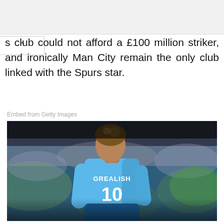s club could not afford a £100 million striker, and ironically Man City remain the only club linked with the Spurs star.
Embed from Getty Images
[Figure (photo): Photo of Jack Grealish wearing Manchester City number 10 jersey, viewed from behind, with blurred crowd in background]